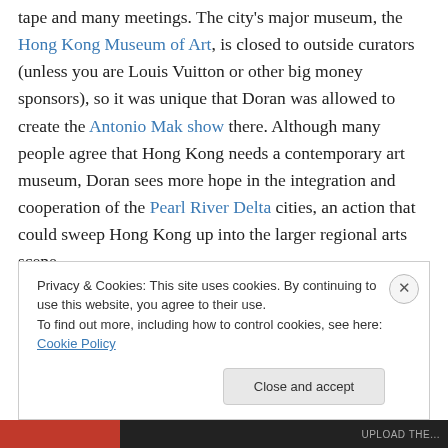tape and many meetings. The city's major museum, the Hong Kong Museum of Art, is closed to outside curators (unless you are Louis Vuitton or other big money sponsors), so it was unique that Doran was allowed to create the Antonio Mak show there. Although many people agree that Hong Kong needs a contemporary art museum, Doran sees more hope in the integration and cooperation of the Pearl River Delta cities, an action that could sweep Hong Kong up into the larger regional arts scene.
Doran concluded by noting that Hong Kong's artists are
Privacy & Cookies: This site uses cookies. By continuing to use this website, you agree to their use.
To find out more, including how to control cookies, see here: Cookie Policy